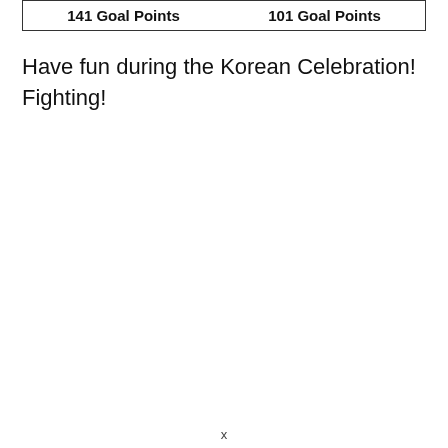| 141 Goal Points | 101 Goal Points |
| --- | --- |
Have fun during the Korean Celebration! Fighting!
x